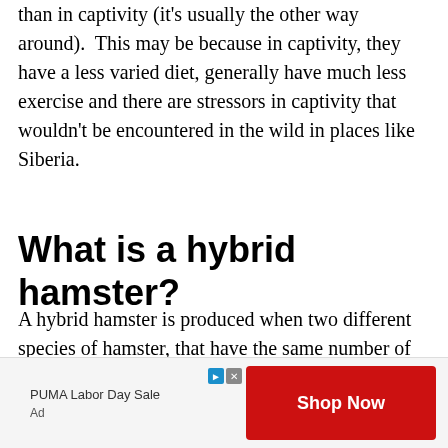than in captivity (it's usually the other way around). This may be because in captivity, they have a less varied diet, generally have much less exercise and there are stressors in captivity that wouldn't be encountered in the wild in places like Siberia.
What is a hybrid hamster?
A hybrid hamster is produced when two different species of hamster, that have the same number of chromosomes, are bred together. The two species that are usually
[Figure (other): Advertisement banner: PUMA Labor Day Sale with red Shop Now button and ad label]